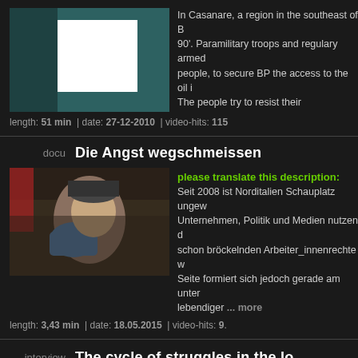[Figure (photo): Thumbnail image showing teal-tinted documentary still with a white rectangle overlay]
In Casanare, a region in the southeast of B... 90'. Paramilitary troops and regulary armed... people, to secure BP the access to the oil i... The people try to resist their replacement a... compensation - whithout any success so fa...
length: 51 min | date: 27-12-2010 | video-hits: 115...
docu
Die Angst wegschmeissen
[Figure (photo): Thumbnail photo showing a man speaking into a megaphone at a protest, crowd behind him]
please translate this description:
Seit 2008 ist Norditalien Schauplatz ungew... Unternehmen, Politik und Medien nutzen d... schon bröckelnden Arbeiter_innenrechte w... Seite formiert sich jedoch gerade am unter... lebendiger ... more
length: 3,43 min | date: 18.05.2015 | video-hits: 9...
interview
The cycle of struggles in the lo...
[Figure (photo): Partial thumbnail image at bottom of page]